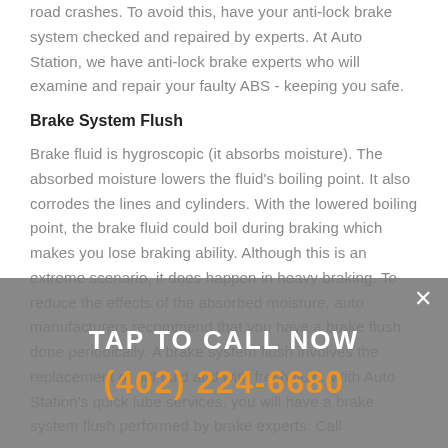road crashes. To avoid this, have your anti-lock brake system checked and repaired by experts. At Auto Station, we have anti-lock brake experts who will examine and repair your faulty ABS - keeping you safe.
Brake System Flush
Brake fluid is hygroscopic (it absorbs moisture). The absorbed moisture lowers the fluid's boiling point. It also corrodes the lines and cylinders. With the lowered boiling point, the brake fluid could boil during braking which makes you lose braking ability. Although this is an extreme scenario, it does happen in heavy braking. To reduce the effects of the absorbed moisture, auto manufacturers recommend that you have a brake flush done periodically. A brake system flush involves the replacement of old fluid and with fresh fluid. With Auto Station's quick lube services, you will have a brake system flush performed by brake experts. Call
TAP TO CALL NOW
(402) 224-6680